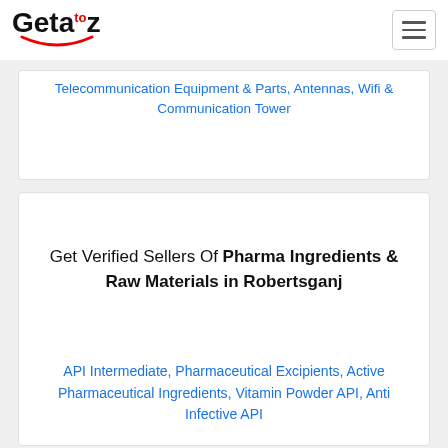Getaztoz
Telecommunication Equipment & Parts, Antennas, Wifi & Communication Tower
Get Verified Sellers Of Pharma Ingredients & Raw Materials in Robertsganj
API Intermediate, Pharmaceutical Excipients, Active Pharmaceutical Ingredients, Vitamin Powder API, Anti Infective API